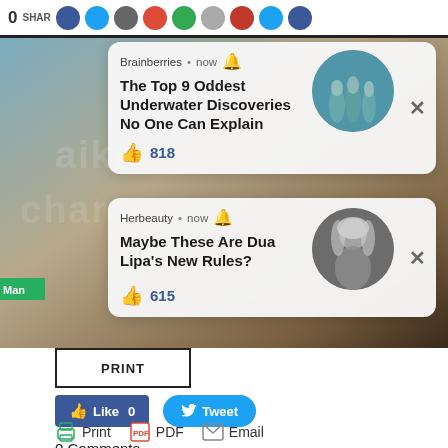[Figure (screenshot): Top share bar with share count 0 and SHARE label, and colored circle icons for social networks]
[Figure (screenshot): Background image showing underwater statue scene with watermark text overlay]
[Figure (screenshot): Notification card 1: Brainberries, now, bell icon. Title: The Top 9 Oddest Underwater Discoveries No One Can Explain. Likes: 818. Circular underwater statue image. X close button.]
[Figure (screenshot): Notification card 2: Herbeauty, now, bell icon. Title: Maybe These Are Dua Lipa's New Rules? Likes: 615. Circular woman photo. X close button.]
PRINT
[Figure (screenshot): Like 0 button (blue Facebook style) and Tweet button (blue Twitter style)]
0 Comments
[Figure (screenshot): Bottom action bar with Print, PDF, and Email icons and labels]